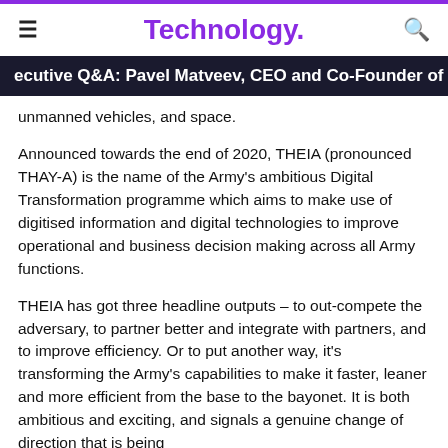Technology.
ecutive Q&A: Pavel Matveev, CEO and Co-Founder of Wirex
unmanned vehicles, and space.
Announced towards the end of 2020, THEIA (pronounced THAY-A) is the name of the Army's ambitious Digital Transformation programme which aims to make use of digitised information and digital technologies to improve operational and business decision making across all Army functions.
THEIA has got three headline outputs – to out-compete the adversary, to partner better and integrate with partners, and to improve efficiency. Or to put another way, it's transforming the Army's capabilities to make it faster, leaner and more efficient from the base to the bayonet. It is both ambitious and exciting, and signals a genuine change of direction that is being